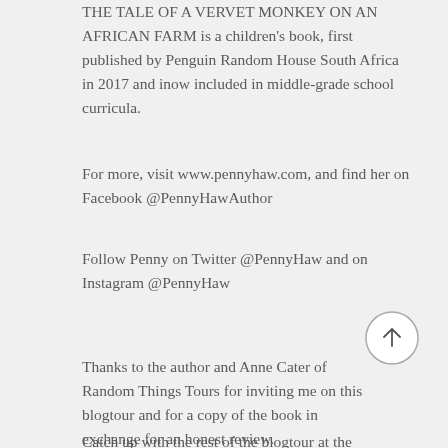THE TALE OF A VERVET MONKEY ON AN AFRICAN FARM is a children's book, first published by Penguin Random House South Africa in 2017 and inow included in middle-grade school curricula.
For more, visit www.pennyhaw.com, and find her on Facebook @PennyHawAuthor
Follow Penny on Twitter @PennyHaw and on Instagram @PennyHaw
Thanks to the author and Anne Cater of Random Things Tours for inviting me on this blogtour and for a copy of the book in exchange for an honest review.
Catch up with the rest of the blogtour at the